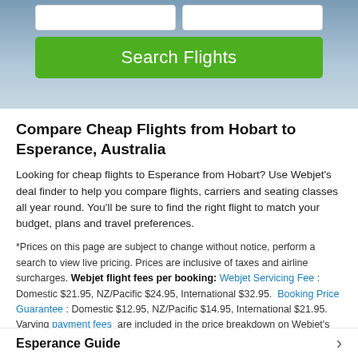[Figure (screenshot): Top hero section with two input boxes and a green Search Flights button over a mountain/sky background]
Compare Cheap Flights from Hobart to Esperance, Australia
Looking for cheap flights to Esperance from Hobart? Use Webjet's deal finder to help you compare flights, carriers and seating classes all year round. You'll be sure to find the right flight to match your budget, plans and travel preferences.
*Prices on this page are subject to change without notice, perform a search to view live pricing. Prices are inclusive of taxes and airline surcharges. Webjet flight fees per booking: Webjet Servicing Fee: Domestic $21.95, NZ/Pacific $24.95, International $32.95. Booking Price Guarantee: Domestic $12.95, NZ/Pacific $14.95, International $21.95. Varying payment fees are included in the price breakdown on Webjet's checkout page, once your payment method has been selected.
Esperance Guide